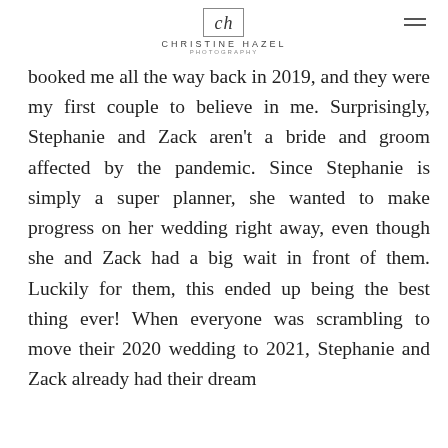CHRISTINE HAZEL PHOTOGRAPHY
booked me all the way back in 2019, and they were my first couple to believe in me. Surprisingly, Stephanie and Zack aren't a bride and groom affected by the pandemic. Since Stephanie is simply a super planner, she wanted to make progress on her wedding right away, even though she and Zack had a big wait in front of them. Luckily for them, this ended up being the best thing ever! When everyone was scrambling to move their 2020 wedding to 2021, Stephanie and Zack already had their dream